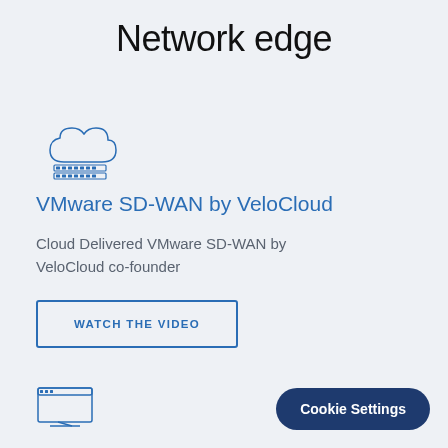Network edge
[Figure (illustration): Blue cloud with server/network icon below it]
VMware SD-WAN by VeloCloud
Cloud Delivered VMware SD-WAN by VeloCloud co-founder
WATCH THE VIDEO
[Figure (illustration): Screen/monitor icon at bottom left]
Cookie Settings